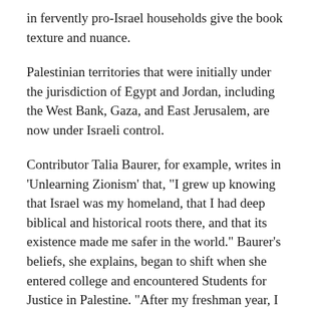in fervently pro-Israel households give the book texture and nuance.
Palestinian territories that were initially under the jurisdiction of Egypt and Jordan, including the West Bank, Gaza, and East Jerusalem, are now under Israeli control.
Contributor Talia Baurer, for example, writes in ‘Unlearning Zionism’ that, “I grew up knowing that Israel was my homeland, that I had deep biblical and historical roots there, and that its existence made me safer in the world.” Baurer’s beliefs, she explains, began to shift when she entered college and encountered Students for Justice in Palestine. “After my freshman year, I spent a month in Israel,” she writes, “and visited the West Bank for the first time. My group toured the Palestinian town of Susya with Breaking the Silence, an Israeli human rights organization.” Seeing